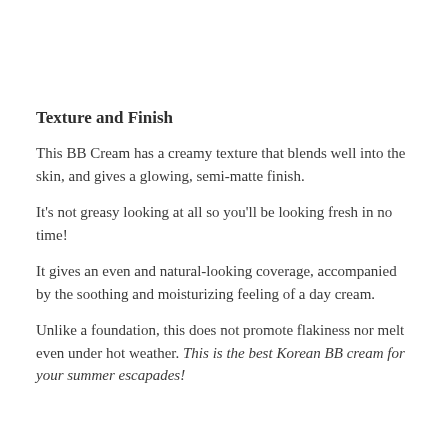Texture and Finish
This BB Cream has a creamy texture that blends well into the skin, and gives a glowing, semi-matte finish.
It's not greasy looking at all so you'll be looking fresh in no time!
It gives an even and natural-looking coverage, accompanied by the soothing and moisturizing feeling of a day cream.
Unlike a foundation, this does not promote flakiness nor melt even under hot weather. This is the best Korean BB cream for your summer escapades!